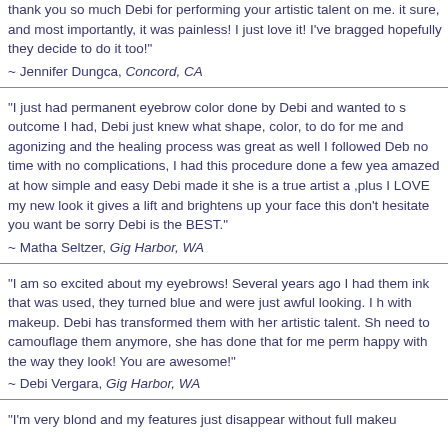thank you so much Debi for performing your artistic talent on me. it sure, and most importantly, it was painless! I just love it! I've bragged hopefully they decide to do it too!
~ Jennifer Dungca, Concord, CA
"I just had permanent eyebrow color done by Debi and wanted to s outcome I had, Debi just knew what shape, color, to do for me and agonizing and the healing process was great as well I followed Deb no time with no complications, I had this procedure done a few yea amazed at how simple and easy Debi made it she is a true artist a ,plus I LOVE my new look it gives a lift and brightens up your face this don't hesitate you want be sorry Debi is the BEST."
~ Matha Seltzer, Gig Harbor, WA
"I am so excited about my eyebrows! Several years ago I had them ink that was used, they turned blue and were just awful looking. I h with makeup. Debi has transformed them with her artistic talent. Sh need to camouflage them anymore, she has done that for me perm happy with the way they look! You are awesome!"
~ Debi Vergara, Gig Harbor, WA
"I'm very blond and my features just disappear without full makeu